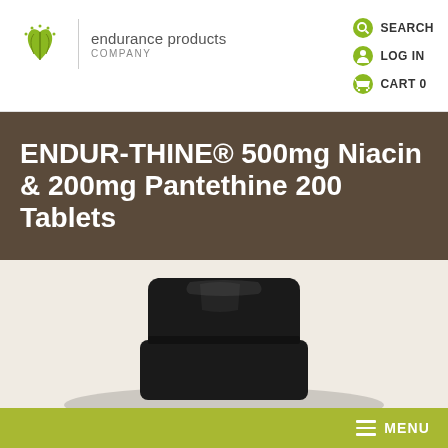[Figure (logo): Endurance Products Company logo with green leaf/plant icon and company name text]
ENDUR-THINE® 500mg Niacin & 200mg Pantethine 200 Tablets
[Figure (photo): Black supplement bottle cap viewed from above on a light beige/cream background]
MENU